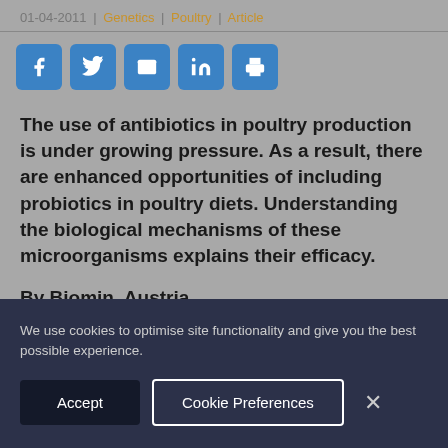01-04-2011 | Genetics | Poultry | Article
[Figure (other): Social share icons: Facebook, Twitter, Email, LinkedIn, Print]
The use of antibiotics in poultry production is under growing pressure. As a result, there are enhanced opportunities of including probiotics in poultry diets. Understanding the biological mechanisms of these microorganisms explains their efficacy.
By Biomin, Austria
We use cookies to optimise site functionality and give you the best possible experience.